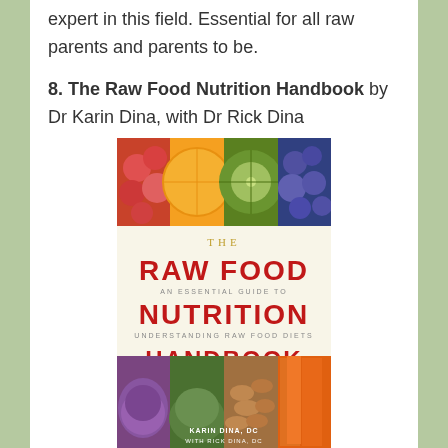expert in this field. Essential for all raw parents and parents to be.
8. The Raw Food Nutrition Handbook by Dr Karin Dina, with Dr Rick Dina
[Figure (photo): Book cover of The Raw Food Nutrition Handbook by Karin Dina DC with Rick Dina DC, showing colorful fruit and vegetable images with bold red title text]
The Raw Food